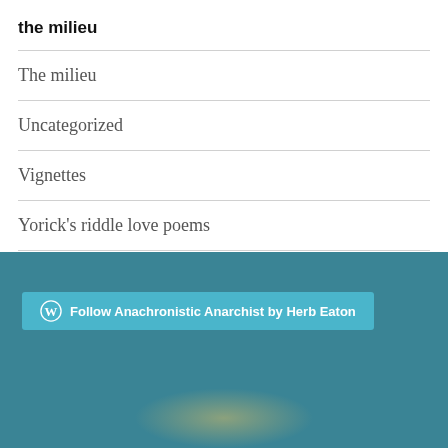the milieu
The milieu
Uncategorized
Vignettes
Yorick's riddle love poems
Follow Anachronistic Anarchist by Herb Eaton